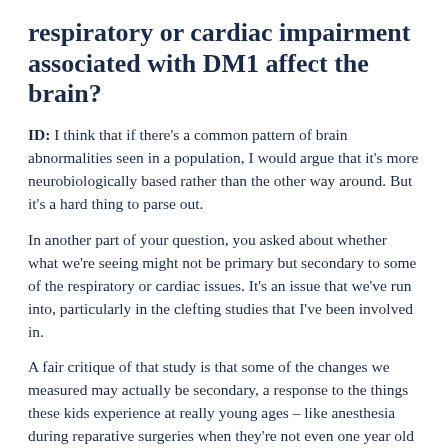respiratory or cardiac impairment associated with DM1 affect the brain?
ID: I think that if there's a common pattern of brain abnormalities seen in a population, I would argue that it's more neurobiologically based rather than the other way around. But it's a hard thing to parse out.
In another part of your question, you asked about whether what we're seeing might not be primary but secondary to some of the respiratory or cardiac issues. It's an issue that we've run into, particularly in the clefting studies that I've been involved in.
A fair critique of that study is that some of the changes we measured may actually be secondary, a response to the things these kids experience at really young ages – like anesthesia during reparative surgeries when they're not even one year old yet. They are facing these environmental insults at this critical